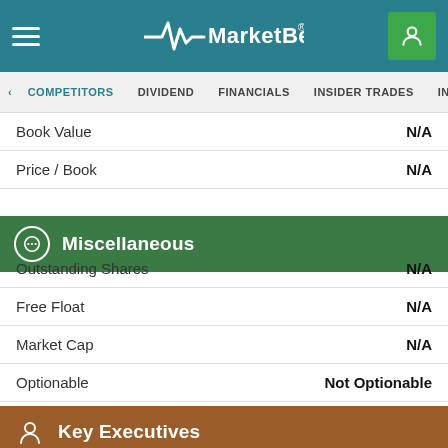MarketBeat
COMPETITORS | DIVIDEND | FINANCIALS | INSIDER TRADES | INSTITUTIONAL
|  |  |
| --- | --- |
| Book Value | N/A |
| Price / Book | N/A |
Miscellaneous
|  |  |
| --- | --- |
| Outstanding Shares | N/A |
| Free Float | N/A |
| Market Cap | N/A |
| Optionable | Not Optionable |
| Beta | N/A |
Key Executives